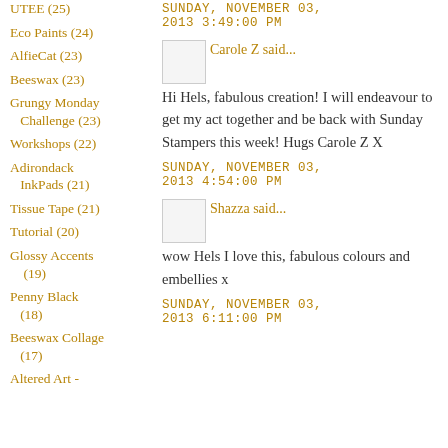UTEE (25)
Eco Paints (24)
AlfieCat (23)
Beeswax (23)
Grungy Monday Challenge (23)
Workshops (22)
Adirondack InkPads (21)
Tissue Tape (21)
Tutorial (20)
Glossy Accents (19)
Penny Black (18)
Beeswax Collage (17)
Altered Art -
SUNDAY, NOVEMBER 03, 2013 3:49:00 PM
Carole Z said...
Hi Hels, fabulous creation! I will endeavour to get my act together and be back with Sunday Stampers this week! Hugs Carole Z X
SUNDAY, NOVEMBER 03, 2013 4:54:00 PM
Shazza said...
wow Hels I love this, fabulous colours and embellies x
SUNDAY, NOVEMBER 03, 2013 6:11:00 PM